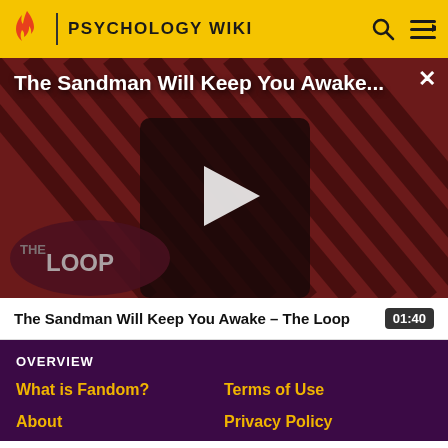PSYCHOLOGY WIKI
[Figure (screenshot): Video thumbnail for 'The Sandman Will Keep You Awake - The Loop' showing a dark figure in a black cloak with a raven, against a red diagonal striped background. The Loop branding is visible in the lower left. A large white play button triangle is centered on the image.]
The Sandman Will Keep You Awake - The Loop   01:40
OVERVIEW
What is Fandom?
Terms of Use
About
Privacy Policy